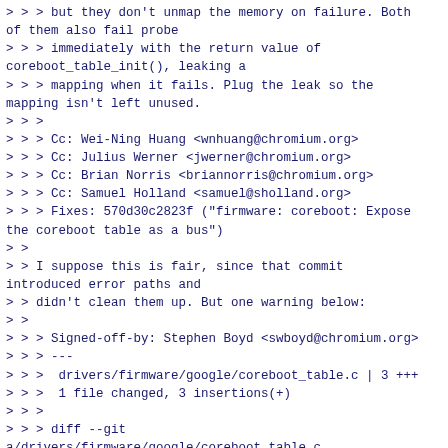> > > but they don't unmap the memory on failure. Both of them also fail probe
> > > immediately with the return value of coreboot_table_init(), leaking a
> > > mapping when it fails. Plug the leak so the mapping isn't left unused.
> > >
> > > Cc: Wei-Ning Huang <wnhuang@chromium.org>
> > > Cc: Julius Werner <jwerner@chromium.org>
> > > Cc: Brian Norris <briannorris@chromium.org>
> > > Cc: Samuel Holland <samuel@sholland.org>
> > > Fixes: 570d30c2823f ("firmware: coreboot: Expose the coreboot table as a bus")
> >
> > I suppose this is fair, since that commit introduced error paths and
> > didn't clean them up. But one warning below:
> >
> > > Signed-off-by: Stephen Boyd <swboyd@chromium.org>
> > > ---
> > >  drivers/firmware/google/coreboot_table.c | 3 +++
> > >  1 file changed, 3 insertions(+)
> > >
> > > diff --git a/drivers/firmware/google/coreboot_table.c b/drivers/firmware/google/coreboot_table.c
> > > index 19db5709ae28..0d3e140444ae 100644
> > > --- a/drivers/firmware/google/coreboot_table.c
> > > +++ b/drivers/firmware/google/coreboot_table.c
> > > @@ -138,6 +138,9 @@ int